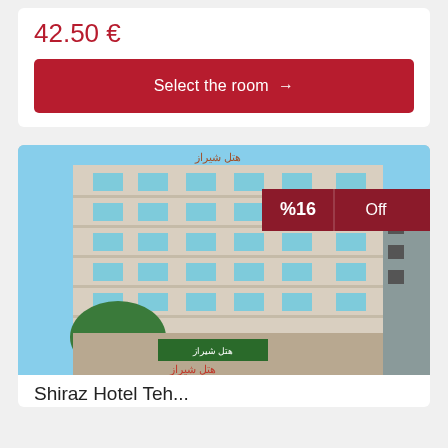42.50 €
Select the room →
[Figure (photo): Exterior photograph of a multi-story hotel building (Shiraz Hotel, Tehran) with a white facade, multiple floors with balconies and AC units, trees in foreground, and a green sign at street level. A red discount badge showing %16 Off is overlaid in the upper right corner of the image.]
Shiraz Hotel Teh...